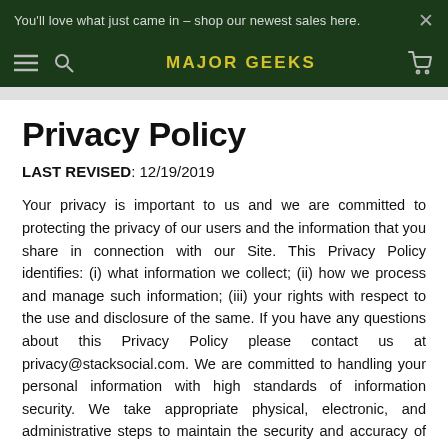You'll love what just came in – shop our newest sales here.
MAJOR GEEKS
Privacy Policy
LAST REVISED: 12/19/2019
Your privacy is important to us and we are committed to protecting the privacy of our users and the information that you share in connection with our Site. This Privacy Policy identifies: (i) what information we collect; (ii) how we process and manage such information; (iii) your rights with respect to the use and disclosure of the same. If you have any questions about this Privacy Policy please contact us at privacy@stacksocial.com. We are committed to handling your personal information with high standards of information security. We take appropriate physical, electronic, and administrative steps to maintain the security and accuracy of personally identifiable information we collect, including limiting the number of people who have physical access to our database servers, as well as employing electronic security